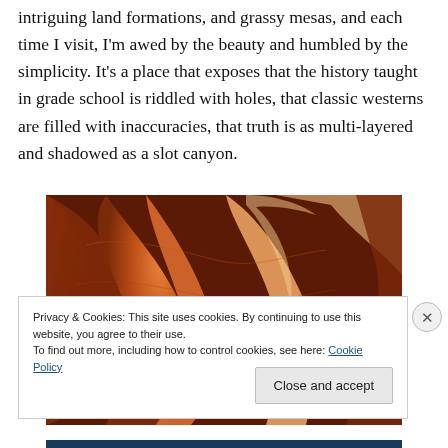intriguing land formations, and grassy mesas, and each time I visit, I'm awed by the beauty and humbled by the simplicity. It's a place that exposes that the history taught in grade school is riddled with holes, that classic westerns are filled with inaccuracies, that truth is as multi-layered and shadowed as a slot canyon.
[Figure (photo): Interior of a slot canyon showing layered orange and red sandstone walls with smooth curved surfaces and dramatic light]
Privacy & Cookies: This site uses cookies. By continuing to use this website, you agree to their use.
To find out more, including how to control cookies, see here: Cookie Policy